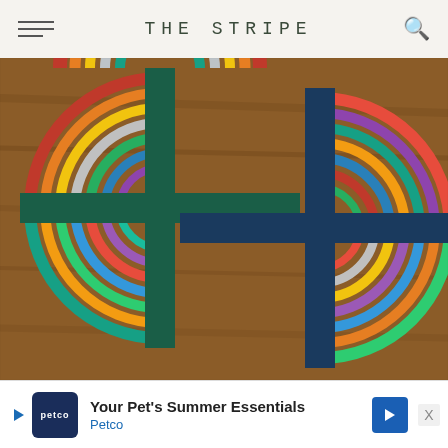THE STRIPE
[Figure (photo): A colorful geometric puzzle with concentric circular rainbow arcs arranged in an overlapping pattern on a wooden surface. The puzzle features multiple interlocking circular designs with stripes of red, orange, yellow, green, blue, purple, gray, and other colors forming a complex mandala-like pattern.]
Your Pet's Summer Essentials Petco